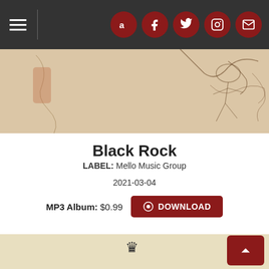Navigation bar with hamburger menu and social icons (Amazon, Facebook, Twitter, Instagram, Email)
[Figure (illustration): Top portion of a Japanese-style sketch artwork on a beige/tan background showing abstract figures and gestures in pencil/ink]
Black Rock
LABEL: Mello Music Group
2021-03-04
MP3 Album: $0.99  ⊙ DOWNLOAD
[Figure (illustration): Bottom album artwork showing Japanese woodblock-style illustration of figures wearing large hats in blue/teal and black ink on cream background, with a crown symbol at top center]